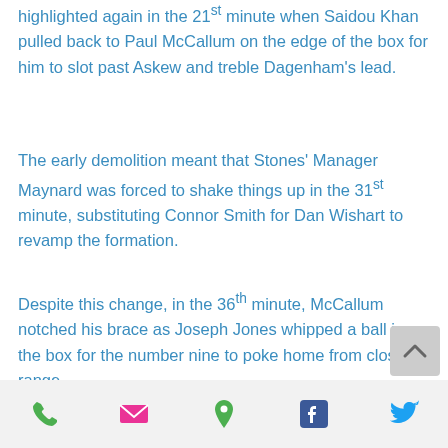highlighted again in the 21st minute when Saidou Khan pulled back to Paul McCallum on the edge of the box for him to slot past Askew and treble Dagenham's lead.
The early demolition meant that Stones' Manager Maynard was forced to shake things up in the 31st minute, substituting Connor Smith for Dan Wishart to revamp the formation.
Despite this change, in the 36th minute, McCallum notched his brace as Joseph Jones whipped a ball in the box for the number nine to poke home from close range.
phone | email | location | facebook | twitter